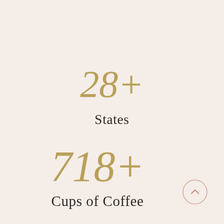28+
States
718+
Cups of Coffee